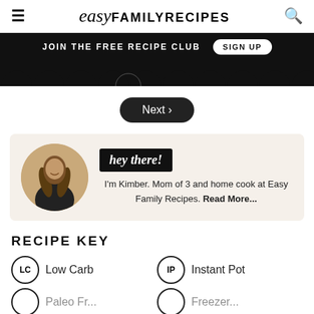easy FAMILY RECIPES
JOIN THE FREE RECIPE CLUB  SIGN UP
[Figure (illustration): Black scallop/wavy border at bottom of dark banner area, with partial circular thumbnails of recipe images]
[Figure (other): Next > button — dark rounded pill button with white text]
[Figure (photo): Bio card with circular photo of Kimber (woman with long wavy hair, smiling, wearing black), 'hey there!' badge in black, and text: I'm Kimber. Mom of 3 and home cook at Easy Family Recipes. Read More...]
RECIPE KEY
LC  Low Carb
IP  Instant Pot
Paleo Friendly (partial)
Freezer (partial)